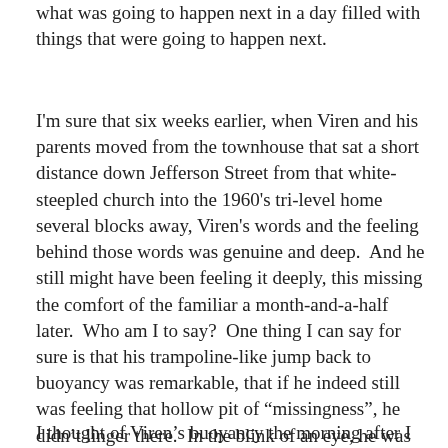what was going to happen next in a day filled with things that were going to happen next.
I'm sure that six weeks earlier, when Viren and his parents moved from the townhouse that sat a short distance down Jefferson Street from that white-steepled church into the 1960's tri-level home several blocks away, Viren's words and the feeling behind those words was genuine and deep.  And he still might have been feeling it deeply, this missing the comfort of the familiar a month-and-a-half later.  Who am I to say?  One thing I can say for sure is that his trampoline-like jump back to buoyancy was remarkable, that if he indeed still was feeling that hollow pit of “missingness”, he didn’t linger there.  In the blink of an eye, he was back in the moment, wide-eyed and eager and ready to play.
I thought of Viren's buoyancy the morning after I flew back